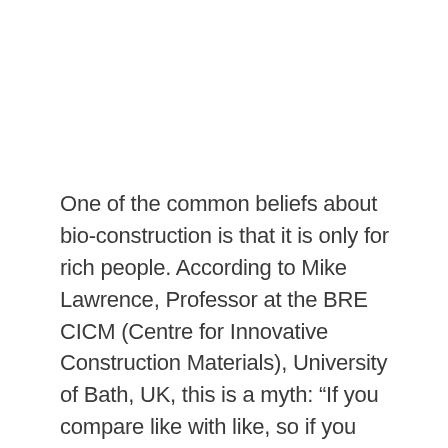One of the common beliefs about bio-construction is that it is only for rich people. According to Mike Lawrence, Professor at the BRE CICM (Centre for Innovative Construction Materials), University of Bath, UK, this is a myth: “If you compare like with like, so if you compare a building made out of conventional materials with the same thermal performance as a building made out of biobased materials such as hemp, the latter is cheaper. Under the EU project